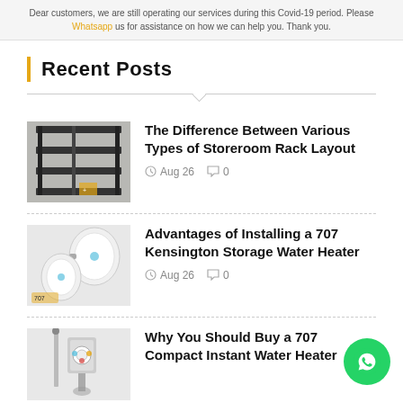Dear customers, we are still operating our services during this Covid-19 period. Please Whatsapp us for assistance on how we can help you. Thank you.
Recent Posts
[Figure (photo): Thumbnail image of a metal storeroom rack/shelving unit]
The Difference Between Various Types of Storeroom Rack Layout
Aug 26   0
[Figure (photo): Thumbnail image of a 707 Kensington storage water heater tank]
Advantages of Installing a 707 Kensington Storage Water Heater
Aug 26   0
[Figure (photo): Thumbnail image of a 707 compact instant water heater unit]
Why You Should Buy a 707 Compact Instant Water Heater